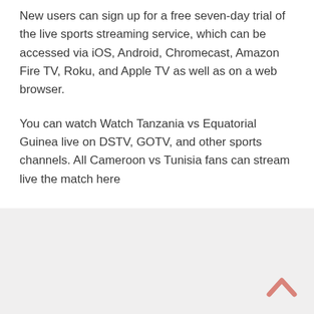New users can sign up for a free seven-day trial of the live sports streaming service, which can be accessed via iOS, Android, Chromecast, Amazon Fire TV, Roku, and Apple TV as well as on a web browser.
You can watch Watch Tanzania vs Equatorial Guinea live on DSTV, GOTV, and other sports channels. All Cameroon vs Tunisia fans can stream live the match here
[Figure (other): Back-to-top chevron arrow icon in salmon/pink color at bottom right of page]